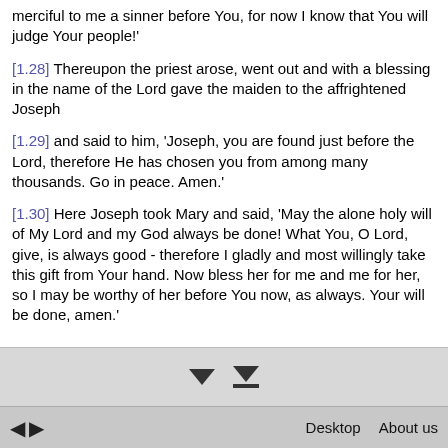merciful to me a sinner before You, for now I know that You will judge Your people!'
[1.28] Thereupon the priest arose, went out and with a blessing in the name of the Lord gave the maiden to the affrightened Joseph
[1.29] and said to him, 'Joseph, you are found just before the Lord, therefore He has chosen you from among many thousands. Go in peace. Amen.'
[1.30] Here Joseph took Mary and said, 'May the alone holy will of My Lord and my God always be done! What You, O Lord, give, is always good - therefore I gladly and most willingly take this gift from Your hand. Now bless her for me and me for her, so I may be worthy of her before You now, as always. Your will be done, amen.'
[Figure (other): Navigation arrows: two downward pointing triangles, one with an underline bar, on a grey background]
< >   Desktop  About us